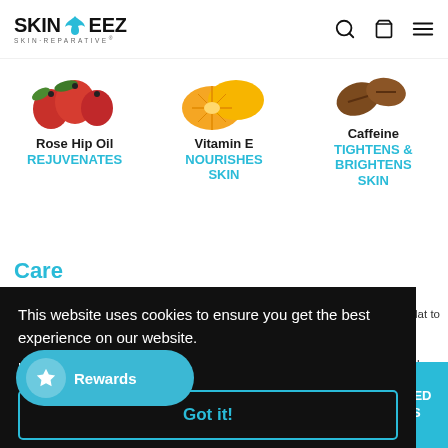SKINEEZ SKIN-REPARATIVE
[Figure (photo): Three ingredient panels: Rose Hip Oil (red berries), Vitamin E (orange slices), Caffeine (coffee beans). Each shows an ingredient image, name, and benefit text.]
Rose Hip Oil REJUVENATES
Vitamin E NOURISHES SKIN
Caffeine TIGHTENS & BRIGHTENS SKIN
Care
This website uses cookies to ensure you get the best experience on our website.
Learn More
Got it!
Rewards
flat to
here
ment.
DITED SS
garment a complete application. Skine